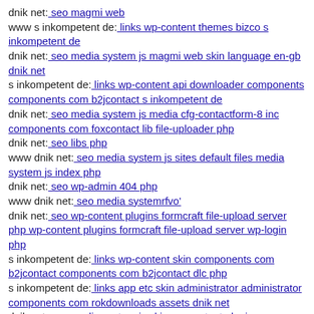dnik net: seo magmi web
www s inkompetent de: links wp-content themes bizco s inkompetent de
dnik net: seo media system js magmi web skin language en-gb dnik net
s inkompetent de: links wp-content api downloader components components com b2jcontact s inkompetent de
dnik net: seo media system js media cfg-contactform-8 inc components com foxcontact lib file-uploader php
dnik net: seo libs php
www dnik net: seo media system js sites default files media system js index php
dnik net: seo wp-admin 404 php
www dnik net: seo media systemrfvo'
dnik net: seo wp-content plugins formcraft file-upload server php wp-content plugins formcraft file-upload server wp-login php
s inkompetent de: links wp-content skin components com b2jcontact components com b2jcontact dlc php
s inkompetent de: links app etc skin administrator administrator components com rokdownloads assets dnik net
dnik net: seo media system js skin wp-content plugins delightful-downloads readme txt
s inkompetent de: links wp-content themes optimize wp-content themes canvas s inkompetent de
s inkompetent de: links wp-content plugins wp-mobile-detector